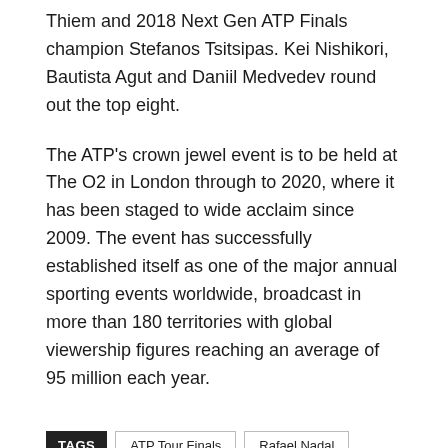Thiem and 2018 Next Gen ATP Finals champion Stefanos Tsitsipas. Kei Nishikori, Bautista Agut and Daniil Medvedev round out the top eight.
The ATP's crown jewel event is to be held at The O2 in London through to 2020, where it has been staged to wide acclaim since 2009. The event has successfully established itself as one of the major annual sporting events worldwide, broadcast in more than 180 territories with global viewership figures reaching an average of 95 million each year.
TAGS  ATP Tour Finals  Rafael Nadal
[Figure (other): Facebook Like button showing '0 likes']